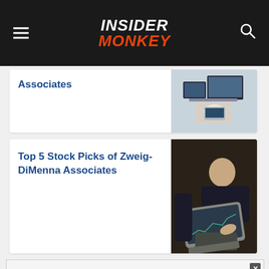Insider Monkey
Associates
[Figure (photo): Person working at desk with multiple monitors and laptop]
Top 5 Stock Picks of Zweig-DiMenna Associates
[Figure (photo): Person sitting on floor looking at laptop with stock data on screen]
15 Most Valuable
[Figure (photo): Partial view of colorful objects on a surface]